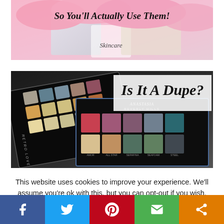[Figure (photo): Pink beauty/skincare subscription box photo with text 'So You'll Actually Use Them!' and 'Skincare' label]
[Figure (photo): Two eyeshadow palettes (Retro Love and Anastasia Beverly Hills) with overlay text 'Is It A Dupe?']
This website uses cookies to improve your experience. We'll assume you're ok with this, but you can opt-out if you wish.
[Figure (infographic): Social share bar with Facebook, Twitter, Pinterest, Email, and Share buttons]